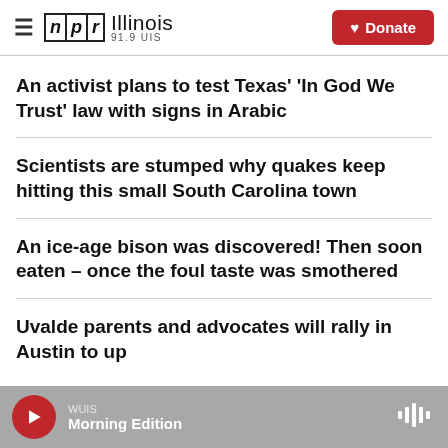NPR Illinois 91.9 UIS — Donate
An activist plans to test Texas' 'In God We Trust' law with signs in Arabic
Scientists are stumped why quakes keep hitting this small South Carolina town
An ice-age bison was discovered! Then soon eaten – once the foul taste was smothered
Uvalde parents and advocates will rally in Austin to up
WUIS Morning Edition